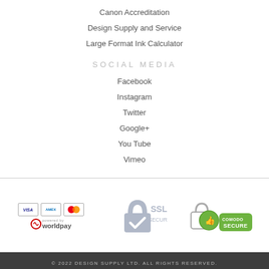Canon Accreditation
Design Supply and Service
Large Format Ink Calculator
SOCIAL MEDIA
Facebook
Instagram
Twitter
Google+
You Tube
Vimeo
[Figure (logo): Worldpay payment logo with Visa, Amex, and Mastercard icons]
[Figure (logo): SSL Secure padlock badge]
[Figure (logo): Comodo Secure badge with thumbs up icon]
© 2022 DESIGN SUPPLY LTD. ALL RIGHTS RESERVED.